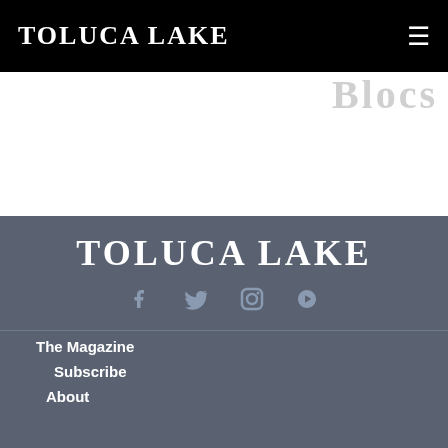Toluca Lake
[Figure (logo): Hamburger menu icon in top right of black nav bar]
Blocs
Toluca Lake
[Figure (infographic): Social media icons: Facebook, Twitter, Instagram, Vimeo]
The Magazine
Subscribe
About